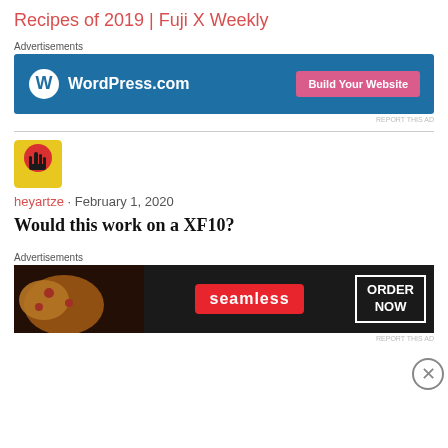Recipes of 2019 | Fuji X Weekly
Advertisements
[Figure (screenshot): WordPress.com advertisement banner with blue background, WordPress logo, and pink 'Build Your Website' button]
REPORT THIS AD
[Figure (photo): Colorful avatar icon with hand silhouette on yellow/red background]
heyartze · February 1, 2020
Would this work on a XF10?
Advertisements
[Figure (screenshot): Seamless food delivery advertisement with pizza image, red seamless logo, and 'ORDER NOW' button on dark background]
REPORT THIS AD